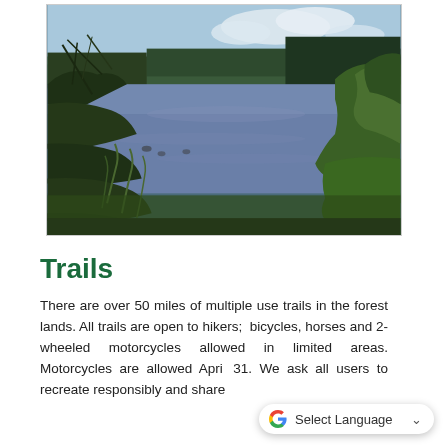[Figure (photo): A lake or reservoir surrounded by trees — conifer forest in the background, deciduous shrubs and green vegetation in the foreground, under a partly cloudy sky. The water is a muted blue-purple tone.]
Trails
There are over 50 miles of multiple use trails in the forest lands. All trails are open to hikers;  bicycles, horses and 2-wheeled motorcycles allowed in limited areas. Motorcycles are allowed April 31. We ask all users to recreate responsibly and share